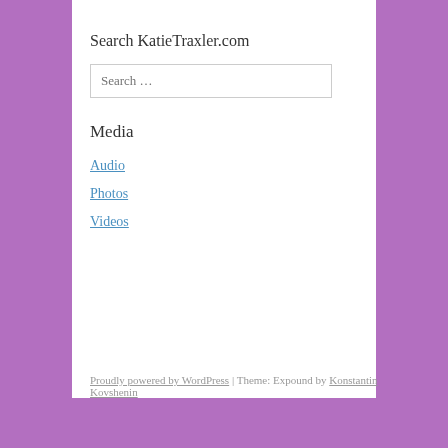Search KatieTraxler.com
Search …
Media
Audio
Photos
Videos
Proudly powered by WordPress | Theme: Expound by Konstantin Kovshenin